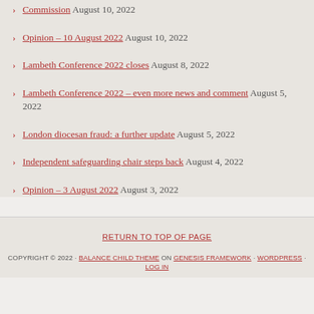Commission August 10, 2022
Opinion – 10 August 2022 August 10, 2022
Lambeth Conference 2022 closes August 8, 2022
Lambeth Conference 2022 – even more news and comment August 5, 2022
London diocesan fraud: a further update August 5, 2022
Independent safeguarding chair steps back August 4, 2022
Opinion – 3 August 2022 August 3, 2022
RETURN TO TOP OF PAGE
COPYRIGHT © 2022 · BALANCE CHILD THEME ON GENESIS FRAMEWORK · WORDPRESS · LOG IN